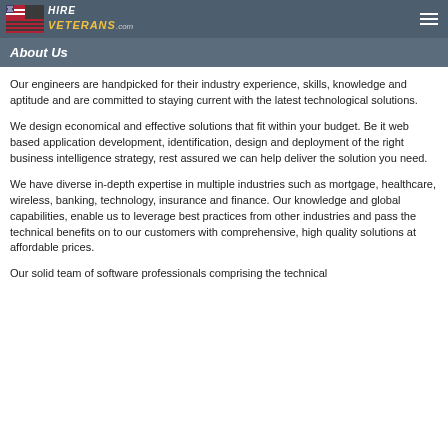HireVeterans.com
About Us
Our engineers are handpicked for their industry experience, skills, knowledge and aptitude and are committed to staying current with the latest technological solutions.
We design economical and effective solutions that fit within your budget. Be it web based application development, identification, design and deployment of the right business intelligence strategy, rest assured we can help deliver the solution you need.
We have diverse in-depth expertise in multiple industries such as mortgage, healthcare, wireless, banking, technology, insurance and finance. Our knowledge and global capabilities, enable us to leverage best practices from other industries and pass the technical benefits on to our customers with comprehensive, high quality solutions at affordable prices.
Our solid team of software professionals comprising the technical...